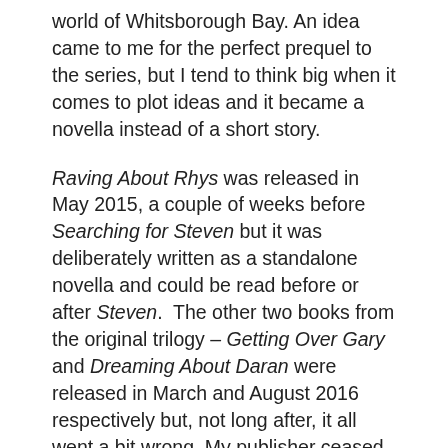world of Whitsborough Bay. An idea came to me for the perfect prequel to the series, but I tend to think big when it comes to plot ideas and it became a novella instead of a short story.
Raving About Rhys was released in May 2015, a couple of weeks before Searching for Steven but it was deliberately written as a standalone novella and could be read before or after Steven.  The other two books from the original trilogy – Getting Over Gary and Dreaming About Daran were released in March and August 2016 respectively but, not long after, it all went a bit wrong. My publisher ceased trading and I needed to quickly re-release them as an indie writer, each with a speedily-designed new cover. Once we had more time, each had another new cover designed. Hubby and I never really liked the cover for Raving About Rhys but I was a bit stuck